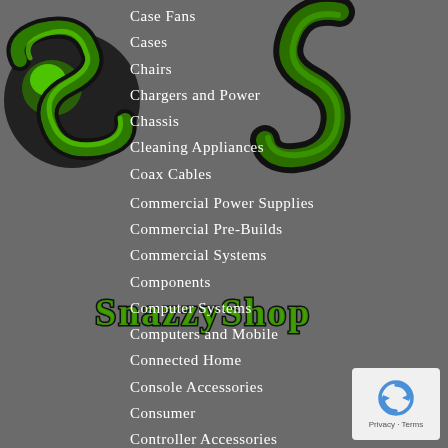[Figure (logo): SnazzyShop logo with large dark green and black stylized 'S' letters and green glowing text reading 'SnazzyShop' on a dark grey background]
Case Fans
Cases
Chairs
Chargers and Power
Chassis
Cleaning Appliances
Coax Cables
Commercial Power Supplies
Commercial Pre-Builds
Commercial Systems
Components
Computer Systems
Computers and Mobile
Connected Home
Console Accessories
Consumer
Controller Accessories
Controllers
Cooling
CPU
[Figure (other): reCAPTCHA widget with Privacy and Terms text]